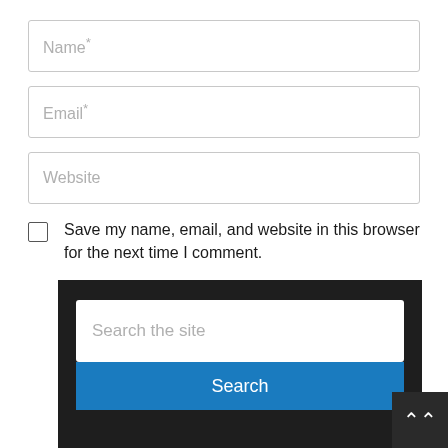Name*
Email*
Website
Save my name, email, and website in this browser for the next time I comment.
Post Comment
Search the site
Search